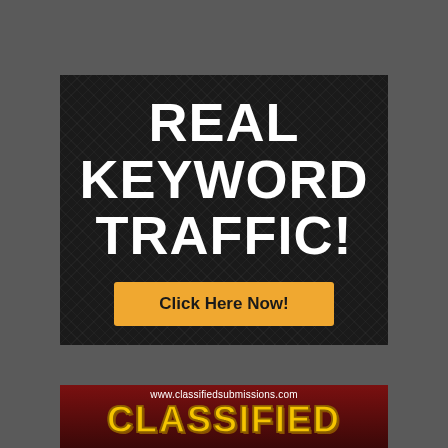[Figure (infographic): Advertisement banner with dark crosshatch background. Large white bold text reads 'REAL KEYWORD TRAFFIC!' with a yellow/orange button below reading 'Click Here Now!']
[Figure (infographic): Bottom advertisement banner with dark red gradient background. URL 'www.classifiedsubmissions.com' in white at top. Large gold/yellow bold text reads 'CLASSIFIED' in stylized font.]